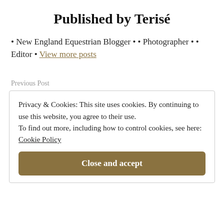Published by Terisé
• New England Equestrian Blogger • • Photographer • • Editor • View more posts
Previous Post
Privacy & Cookies: This site uses cookies. By continuing to use this website, you agree to their use.
To find out more, including how to control cookies, see here:
Cookie Policy
Close and accept